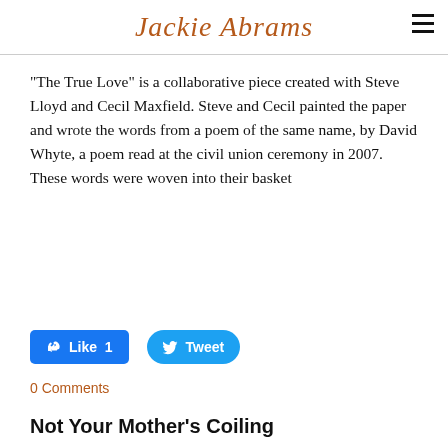Jackie Abrams
“The True Love” is a collaborative piece created with Steve Lloyd and Cecil Maxfield. Steve and Cecil painted the paper and wrote the words from a poem of the same name, by David Whyte, a poem read at the civil union ceremony in 2007. These words were woven into their basket
[Figure (other): Facebook Like button showing count of 1 and Twitter Tweet button]
0 Comments
Not Your Mother’s Coiling